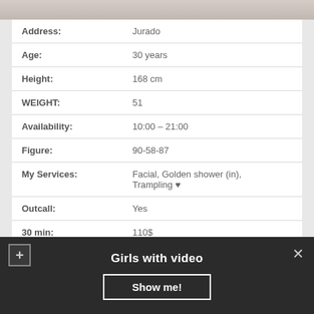[Figure (photo): Partial photo of a person visible at the top of the page]
| Address: | Jurado |
| Age: | 30 years |
| Height: | 168 cm |
| WEIGHT: | 51 |
| Availability: | 10:00 – 21:00 |
| Figure: | 90-58-87 |
| My Services: | Facial, Golden shower (in), Trampling ♥ |
| Outcall: | Yes |
| 30 min: | 110$ |
| For full: | 150$ |
Girls with video
Show me!